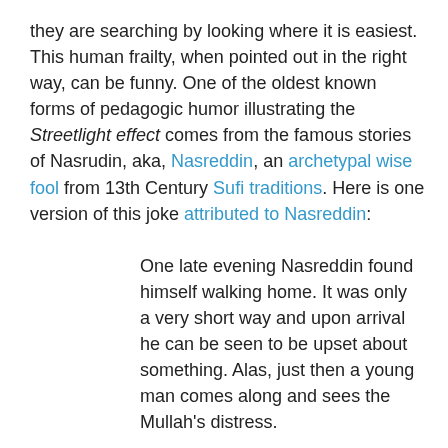they are searching by looking where it is easiest. This human frailty, when pointed out in the right way, can be funny. One of the oldest known forms of pedagogic humor illustrating the Streetlight effect comes from the famous stories of Nasrudin, aka, Nasreddin, an archetypal wise fool from 13th Century Sufi traditions. Here is one version of this joke attributed to Nasreddin:
One late evening Nasreddin found himself walking home. It was only a very short way and upon arrival he can be seen to be upset about something. Alas, just then a young man comes along and sees the Mullah's distress.
“Mullah, pray tell me: what is wrong?”
“Ah, my friend, I seem to have lost my keys.